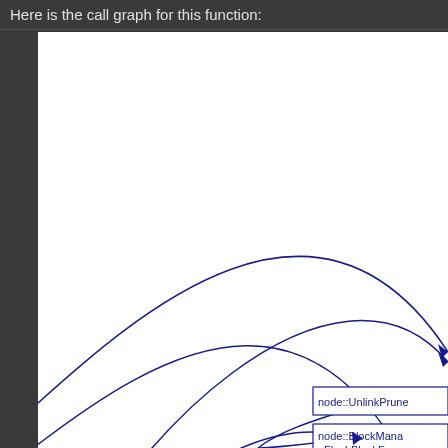Here is the call graph for this function:
[Figure (flowchart): Call graph showing function relationships. Two curved arrows extend from off-screen upper-left area curving to the right side. A box labeled 'node::UnlinkPrune...' is visible at lower right with an arrow pointing to it. Below that is a partially visible box labeled 'node::BlockManager::FlushBlockF...' with an arrow pointing to it. The graph is on a white background within the dark-themed documentation page.]